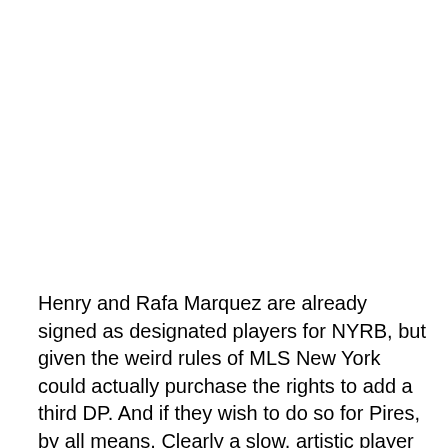Henry and Rafa Marquez are already signed as designated players for NYRB, but given the weird rules of MLS New York could actually purchase the rights to add a third DP. And if they wish to do so for Pires, by all means. Clearly a slow, artistic player would work well in the physicality of the MLS game. New York might be a pretty good team, but there's no denying they're looking for marquee names -- if they think Pires fits the bill, it gives